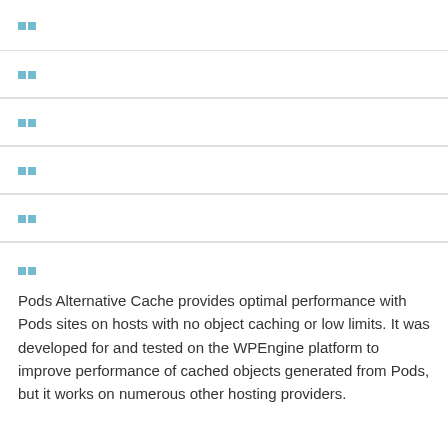□□
□□
□□
□□
□□
□□
Pods Alternative Cache provides optimal performance with Pods sites on hosts with no object caching or low limits. It was developed for and tested on the WPEngine platform to improve performance of cached objects generated from Pods, but it works on numerous other hosting providers.